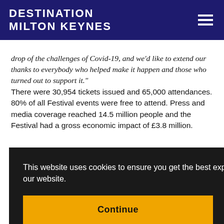DESTINATION MILTON KEYNES
drop of the challenges of Covid-19, and we'd like to extend our thanks to everybody who helped make it happen and those who turned out to support it." There were 30,954 tickets issued and 65,000 attendances. 80% of all Festival events were free to attend. Press and media coverage reached 14.5 million people and the Festival had a gross economic impact of £3.8 million.
This website uses cookies to ensure you get the best experience on our website.
Continue
ured
gave a sense of hope for the future. The team